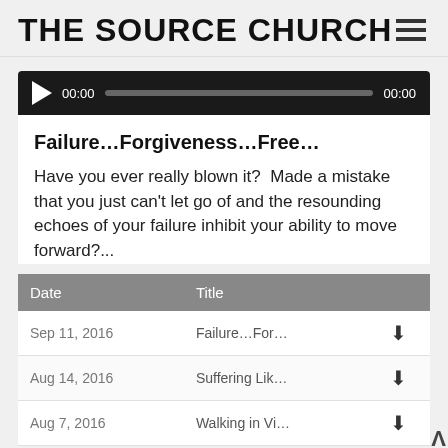THE SOURCE CHURCH
[Figure (other): Audio player bar with play button, timestamp 00:00, progress bar, and end timestamp 00:00]
Failure…Forgiveness…Free…
Have you ever really blown it?  Made a mistake that you just can't let go of and the resounding echoes of your failure inhibit your ability to move forward?...
| Date | Title |  |
| --- | --- | --- |
| Sep 11, 2016 | Failure…For… | ⬇ |
| Aug 14, 2016 | Suffering Lik… | ⬇ |
| Aug 7, 2016 | Walking in Vi… | ⬇ |